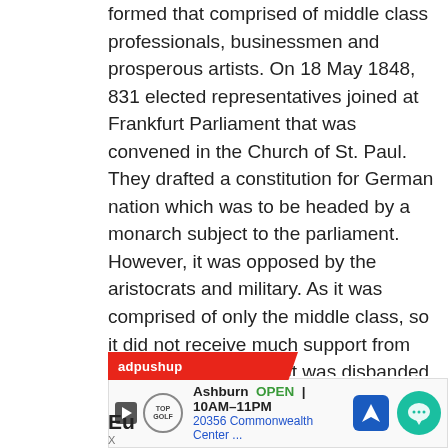formed that comprised of middle class professionals, businessmen and prosperous artists. On 18 May 1848, 831 elected representatives joined at Frankfurt Parliament that was convened in the Church of St. Paul. They drafted a constitution for German nation which was to be headed by a monarch subject to the parliament. However, it was opposed by the aristocrats and military. As it was comprised of only the middle class, so it did not receive much support from the peasants. Hence it was disbanded.
e) The role of women in nationalist struggles: Large number of women had actively participated in various liberal movements over the years. They had also formed their own political associations and newspapers. They were part of every political meeting and demonstration.
Related Questions
Europe...
[Figure (other): Advertisement overlay: adpushup banner in red, TopGolf ad showing Ashburn OPEN 10AM-11PM, 20356 Commonwealth Center, with navigation and chat icons]